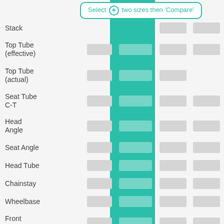[Figure (screenshot): Bicycle geometry comparison table UI with a teal highlighted column and placeholder bars. Shows a tooltip 'Select + two sizes then Compare' and rows for Stack, Top Tube (effective), Top Tube (actual), Seat Tube C-T, Head Angle, Seat Angle, Head Tube, Chainstay, Wheelbase, Front Centre, Standover with gray and teal placeholder value bars.]